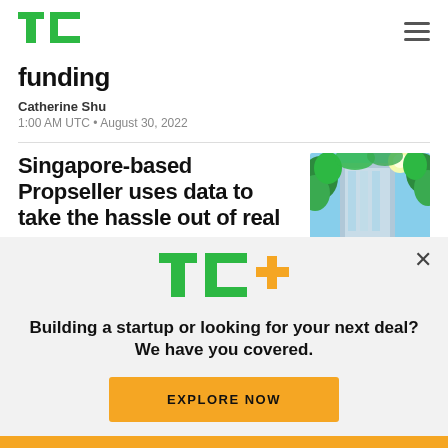TechCrunch logo and navigation
funding
Catherine Shu
1:00 AM UTC • August 30, 2022
Singapore-based Propseller uses data to take the hassle out of real
[Figure (photo): Upward view of glass skyscraper surrounded by green trees]
[Figure (logo): TC+ logo in green with orange plus sign]
Building a startup or looking for your next deal? We have you covered.
EXPLORE NOW